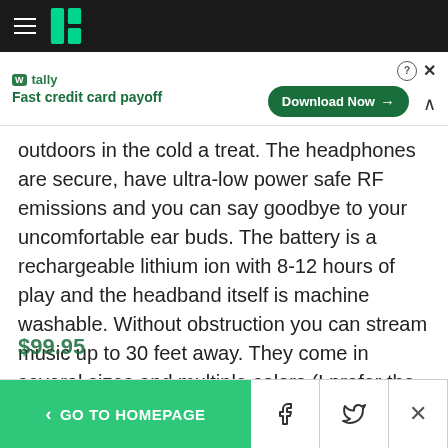HuffPost navigation header with hamburger menu and logo
[Figure (screenshot): Advertisement banner for Tally app - Fast credit card payoff with Download Now button]
outdoors in the cold a treat. The headphones are secure, have ultra-low power safe RF emissions and you can say goodbye to your uncomfortable ear buds. The battery is a rechargeable lithium ion with 8-12 hours of play and the headband itself is machine washable. Without obstruction you can stream music up to 30 feet away. They come in several sizes and multiple colors (I prefer the simple black).
< GO TO HOMEPAGE | Facebook share | Twitter share | Close